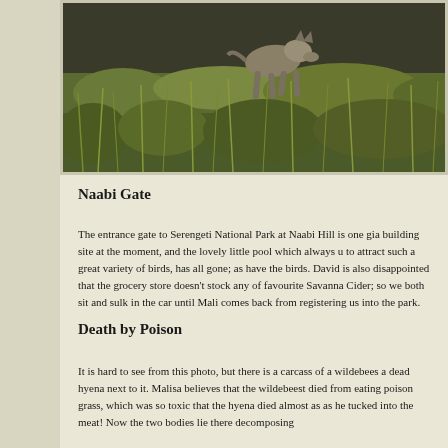[Figure (photo): Wildlife photo showing an animal (likely a hyena or similar animal) walking through green grass and vegetation in what appears to be Serengeti National Park]
Naabi Gate
The entrance gate to Serengeti National Park at Naabi Hill is one gia building site at the moment, and the lovely little pool which always u to attract such a great variety of birds, has all gone; as have the birds. David is also disappointed that the grocery store doesn't stock any of favourite Savanna Cider; so we both sit and sulk in the car until Mali comes back from registering us into the park.
Death by Poison
It is hard to see from this photo, but there is a carcass of a wildebees a dead hyena next to it. Malisa believes that the wildebeest died from eating poison grass, which was so toxic that the hyena died almost as as he tucked into the meat! Now the two bodies lie there decomposing